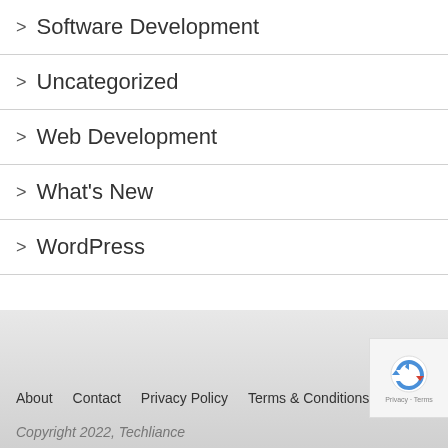> Software Development
> Uncategorized
> Web Development
> What's New
> WordPress
About   Contact   Privacy Policy   Terms & Conditions
Copyright 2022, Techliance